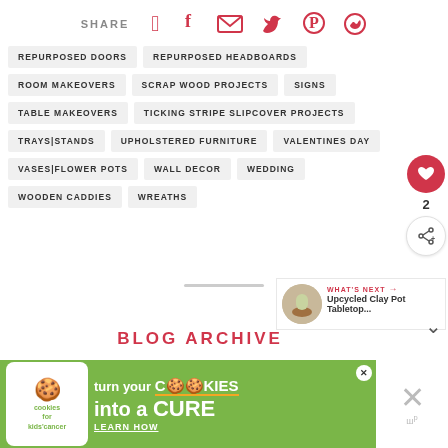SHARE
REPURPOSED DOORS
REPURPOSED HEADBOARDS
ROOM MAKEOVERS
SCRAP WOOD PROJECTS
SIGNS
TABLE MAKEOVERS
TICKING STRIPE SLIPCOVER PROJECTS
TRAYS|STANDS
UPHOLSTERED FURNITURE
VALENTINES DAY
VASES|FLOWER POTS
WALL DECOR
WEDDING
WOODEN CADDIES
WREATHS
2
WHAT'S NEXT → Upcycled Clay Pot Tabletop...
BLOG ARCHIVE
[Figure (infographic): Green advertisement banner: cookies for kids cancer - turn your COOKIES into a CURE LEARN HOW]